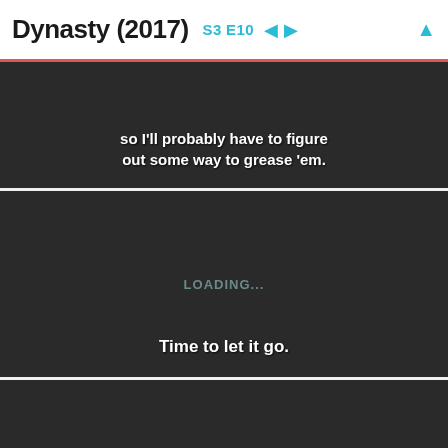Dynasty (2017) S3 E10
[Figure (screenshot): Dark video frame with white subtitle text: 'so I'll probably have to figure out some way to grease 'em.']
[Figure (screenshot): Dark video frame showing LOADING... text in center and subtitle 'Time to let it go.' at bottom]
[Figure (screenshot): Dark video frame, partially visible at bottom of page]